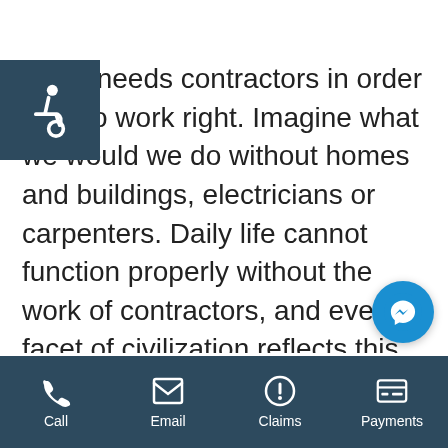[Figure (logo): Wheelchair accessibility icon — white wheelchair symbol on dark teal square background]
world needs contractors in order for it to work right. Imagine what we would we do without homes and buildings, electricians or carpenters. Daily life cannot function properly without the work of contractors, and every facet of civilization reflects this fact. If you are a contractor, you know how important it is to be prepared for real-life situations and to always have a contingency plan should something not go according to plan. Texas contractors insurance helps you to be prepared for the unpredictable circumstances that your career place you in, and allows you to enjoy your valu...
[Figure (logo): Facebook Messenger chat bubble icon — white lightning bolt on blue circle]
Call | Email | Claims | Payments